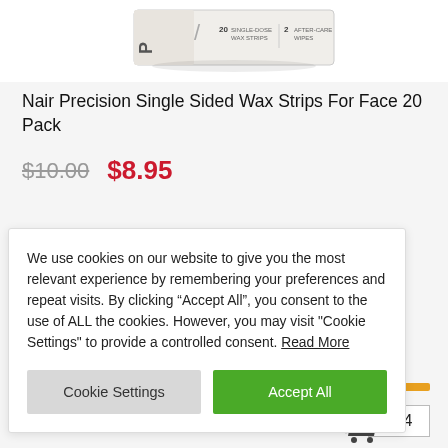[Figure (photo): Partial view of a Nair product box (wax strips) with text '20 single-use wax strips' and '2 after care wipes']
Nair Precision Single Sided Wax Strips For Face 20 Pack
$10.00  $8.95
We use cookies on our website to give you the most relevant experience by remembering your preferences and repeat visits. By clicking “Accept All”, you consent to the use of ALL the cookies. However, you may visit "Cookie Settings" to provide a controlled consent. Read More
Cookie Settings  Accept All
454